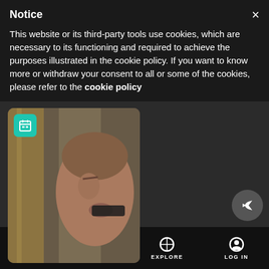Notice
This website or its third-party tools use cookies, which are necessary to its functioning and required to achieve the purposes illustrated in the cookie policy. If you want to know more or withdraw your consent to all or some of the cookies, please refer to the cookie policy
[Figure (photo): Photo of a person's face close-up, appearing to smoke something, with wooden planks in the background. A teal calendar icon overlay appears in the top-left corner of the photo card.]
SEARCH   HOME   EXPLORE   LOG IN